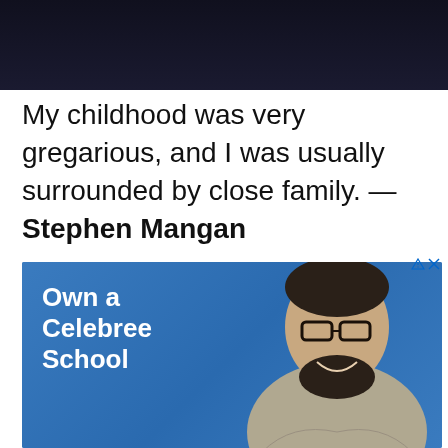[Figure (photo): Dark background photo, partially visible at the top of the page]
My childhood was very gregarious, and I was usually surrounded by close family. — Stephen Mangan
[Figure (advertisement): Celebree School advertisement featuring a smiling bearded man with glasses. Text reads 'Own a Celebree School' on a blue background. Celebree School logo visible at top.]